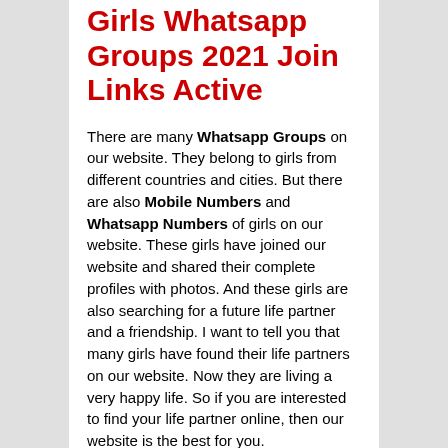Girls Whatsapp Groups 2021 Join Links Active
There are many Whatsapp Groups on our website. They belong to girls from different countries and cities. But there are also Mobile Numbers and Whatsapp Numbers of girls on our website. These girls have joined our website and shared their complete profiles with photos. And these girls are also searching for a future life partner and a friendship. I want to tell you that many girls have found their life partners on our website. Now they are living a very happy life. So if you are interested to find your life partner online, then our website is the best for you.
I want to clarify that these Whatsapp Groups are collected from different